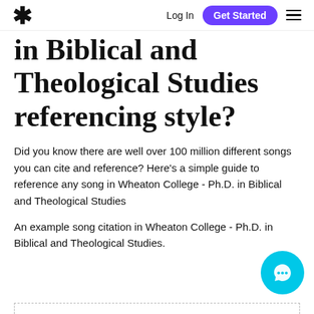Log In | Get Started
in Biblical and Theological Studies referencing style?
Did you know there are well over 100 million different songs you can cite and reference? Here's a simple guide to reference any song in Wheaton College - Ph.D. in Biblical and Theological Studies
An example song citation in Wheaton College - Ph.D. in Biblical and Theological Studies.